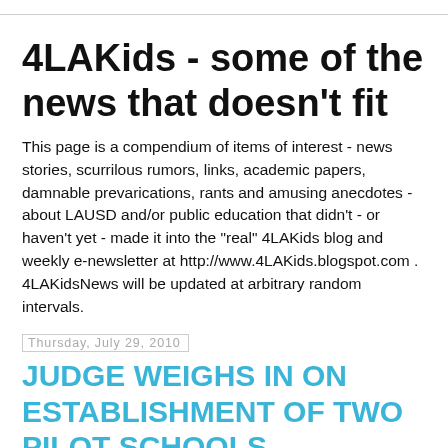4LAKids - some of the news that doesn't fit
This page is a compendium of items of interest - news stories, scurrilous rumors, links, academic papers, damnable prevarications, rants and amusing anecdotes - about LAUSD and/or public education that didn't - or haven't yet - made it into the "real" 4LAKids blog and weekly e-newsletter at http://www.4LAKids.blogspot.com . 4LAKidsNews will be updated at arbitrary random intervals.
Thursday, July 29, 2010
JUDGE WEIGHS IN ON ESTABLISHMENT OF TWO PILOT SCHOOLS
KRCC Wire Services | KRCC